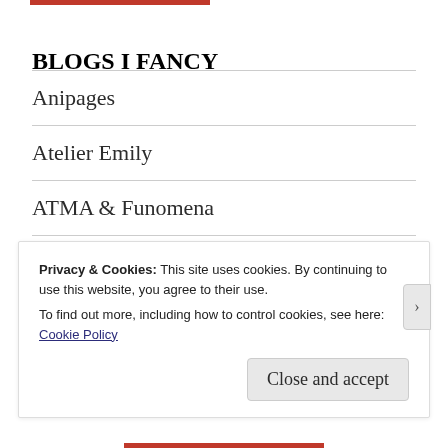BLOGS I FANCY
Anipages
Atelier Emily
ATMA & Funomena
Avvesion's Anime Blog
Cauthan Reviews
Privacy & Cookies: This site uses cookies. By continuing to use this website, you agree to their use.
To find out more, including how to control cookies, see here: Cookie Policy
Close and accept